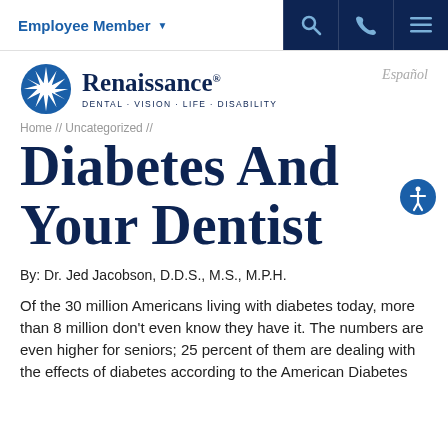Employee Member
[Figure (logo): Renaissance Dental Vision Life Disability logo with blue starburst icon]
Español
Home // Uncategorized //
Diabetes And Your Dentist
By: Dr. Jed Jacobson, D.D.S., M.S., M.P.H.
Of the 30 million Americans living with diabetes today, more than 8 million don't even know they have it. The numbers are even higher for seniors; 25 percent of them are dealing with the effects of diabetes according to the American Diabetes